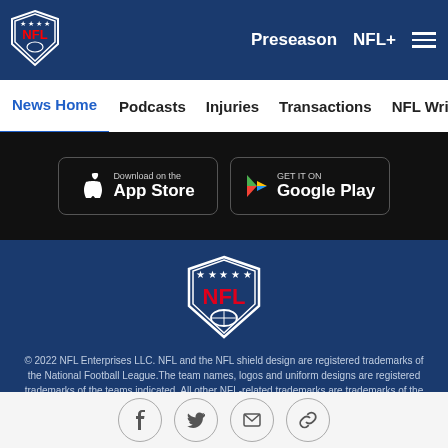[Figure (logo): NFL shield logo small in header navigation bar]
Preseason   NFL+   ☰
News Home   Podcasts   Injuries   Transactions   NFL Writers   Se
[Figure (screenshot): Download on the App Store button]
[Figure (screenshot): Get it on Google Play button]
[Figure (logo): NFL shield logo large in footer]
© 2022 NFL Enterprises LLC. NFL and the NFL shield design are registered trademarks of the National Football League. The team names, logos and uniform designs are registered trademarks of the teams indicated. All other NFL-related trademarks are trademarks of the National Football League. NFL footage © NFL Productions LLC.
PRIVACY POLICY
TERMS OF SERVICE
[Figure (infographic): Social sharing icons: Facebook, Twitter, email, link]